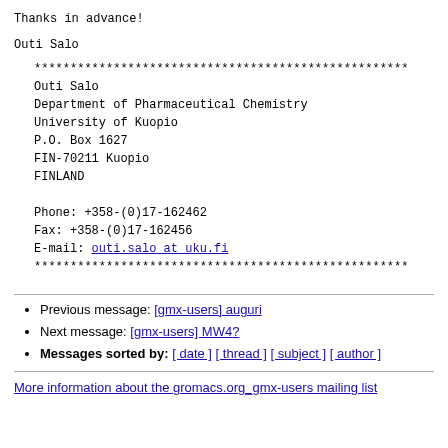Thanks in advance!
Outi Salo
****************************************************
Outi Salo
Department of Pharmaceutical Chemistry
University of Kuopio
P.O. Box 1627
FIN-70211 Kuopio
FINLAND

Phone: +358-(0)17-162462
Fax: +358-(0)17-162456
E-mail: outi.salo at uku.fi
****************************************************
Previous message: [gmx-users] auguri
Next message: [gmx-users] MW4?
Messages sorted by: [ date ] [ thread ] [ subject ] [ author ]
More information about the gromacs.org_gmx-users mailing list